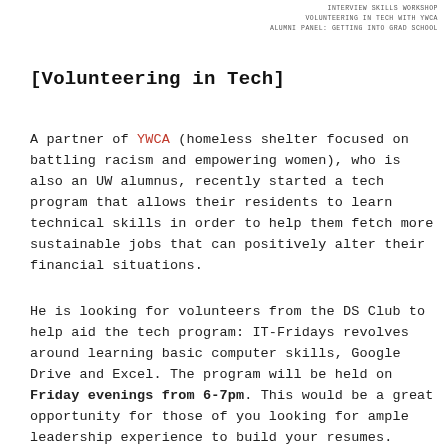INTERVIEW SKILLS WORKSHOP
VOLUNTEERING IN TECH WITH YWCA
ALUMNI PANEL: GETTING INTO GRAD SCHOOL
[Volunteering in Tech]
A partner of YWCA (homeless shelter focused on battling racism and empowering women), who is also an UW alumnus, recently started a tech program that allows their residents to learn technical skills in order to help them fetch more sustainable jobs that can positively alter their financial situations.
He is looking for volunteers from the DS Club to help aid the tech program: IT-Fridays revolves around learning basic computer skills, Google Drive and Excel. The program will be held on Friday evenings from 6-7pm. This would be a great opportunity for those of you looking for ample leadership experience to build your resumes. Please reach out to Shreya Mittal (mittalshreya902@gmail.com) if